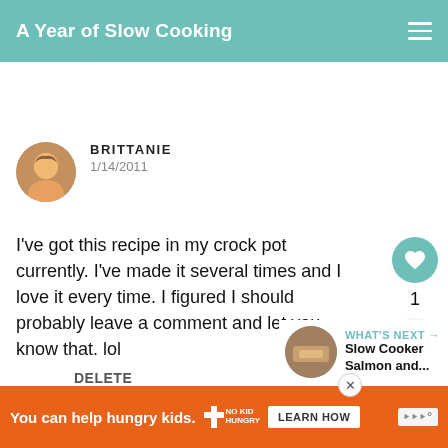A Year of Slow Cooking
BRITTANIE
1/14/2011
I've got this recipe in my crock pot currently. I've made it several times and I love it every time. I figured I should probably leave a comment and let you know that. lol
DELETE
WHAT'S NEXT → Slow Cooker Salmon and...
You can help hungry kids.  NO KID HUNGRY  LEARN HOW